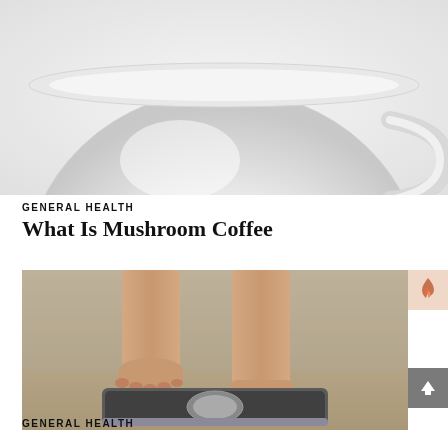[Figure (photo): Close-up photo of a large white ceramic coffee mug/cup from below, against a white background]
GENERAL HEALTH
What Is Mushroom Coffee
[Figure (photo): Person standing on a bathroom scale, bare feet, legs visible from calves down, blurred background]
GENERAL HEALTH